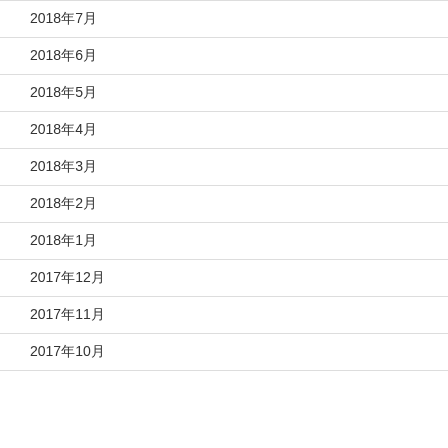2018年7月
2018年6月
2018年5月
2018年4月
2018年3月
2018年2月
2018年1月
2017年12月
2017年11月
2017年10月